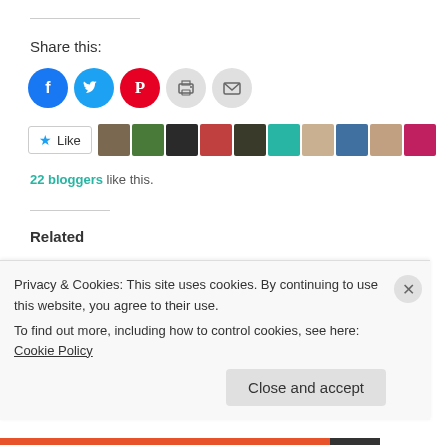Share this:
[Figure (other): Social share buttons: Facebook (blue circle), Twitter (cyan circle), Pinterest (red circle), Print (light grey circle), Email (light grey circle)]
[Figure (other): Like button with star icon, followed by a strip of 10 blogger avatar thumbnails]
22 bloggers like this.
Related
Chuckle Monday – A Crown Fit For A Camper!
April 4, 2016
Chuckle Monday – Getting Away From It All!
January 8, 2017
Privacy & Cookies: This site uses cookies. By continuing to use this website, you agree to their use.
To find out more, including how to control cookies, see here: Cookie Policy
Close and accept